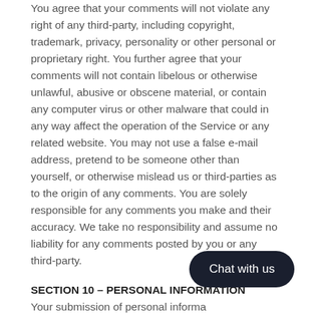You agree that your comments will not violate any right of any third-party, including copyright, trademark, privacy, personality or other personal or proprietary right. You further agree that your comments will not contain libelous or otherwise unlawful, abusive or obscene material, or contain any computer virus or other malware that could in any way affect the operation of the Service or any related website. You may not use a false e-mail address, pretend to be someone other than yourself, or otherwise mislead us or third-parties as to the origin of any comments. You are solely responsible for any comments you make and their accuracy. We take no responsibility and assume no liability for any comments posted by you or any third-party.
SECTION 10 – PERSONAL INFORMATION
Your submission of personal information through the store is governed by our Privacy Policy. Please see our Privacy Policy.